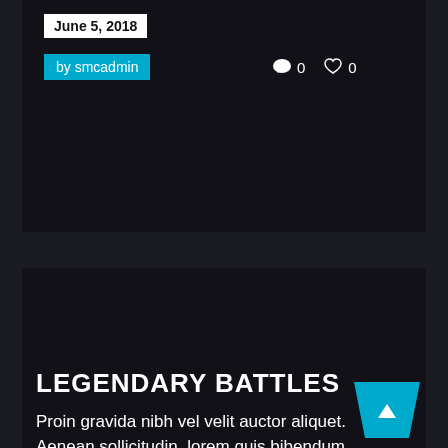June 5, 2018
by smcadmin
💬 0   ♡ 0
LEGENDARY BATTLES
Proin gravida nibh vel velit auctor aliquet. Aenean sollicitudin, lorem quis bibendum auctor, nisi elit consequat ipsum, nec sagittis sem nibh id elit.